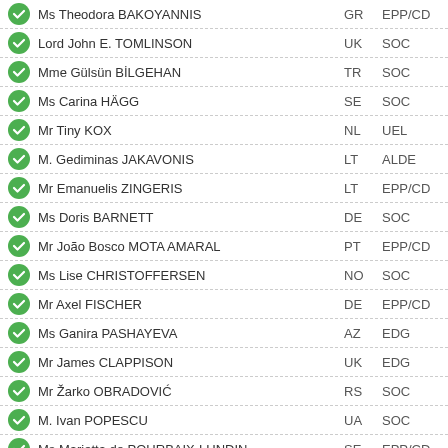Ms Theodora BAKOYANNIS | GR | EPP/CD
Lord John E. TOMLINSON | UK | SOC
Mme Gülsün BİLGEHAN | TR | SOC
Ms Carina HÄGG | SE | SOC
Mr Tiny KOX | NL | UEL
M. Gediminas JAKAVONIS | LT | ALDE
Mr Emanuelis ZINGERIS | LT | EPP/CD
Ms Doris BARNETT | DE | SOC
Mr João Bosco MOTA AMARAL | PT | EPP/CD
Ms Lise CHRISTOFFERSEN | NO | SOC
Mr Axel FISCHER | DE | EPP/CD
Ms Ganira PASHAYEVA | AZ | EDG
Mr James CLAPPISON | UK | EDG
Mr Žarko OBRADOVIĆ | RS | SOC
M. Ivan POPESCU | UA | SOC
Ms Marietta de POURBAIX-LUNDIN | SE | EPP/CD
Mr Indrek SAAR | EE | SOC